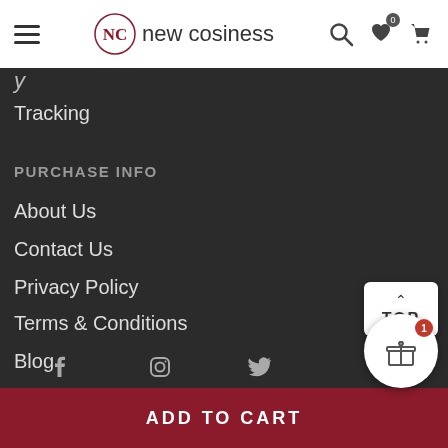new cosiness
y
Tracking
PURCHASE INFO
About Us
Contact Us
Privacy Policy
Terms & Conditions
Blog
[Figure (screenshot): Social media icons row: Facebook, Instagram, Twitter]
TOP
ADD TO CART